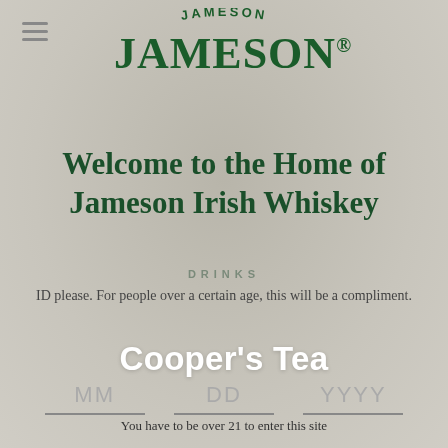[Figure (logo): Jameson Irish Whiskey logo with arched text 'JAMESON' above and large 'JAMESON®' below in dark green]
Welcome to the Home of Jameson Irish Whiskey
DRINKS
ID please. For people over a certain age, this will be a compliment.
Cooper's Tea
MM   DD   YYYY
You have to be over 21 to enter this site